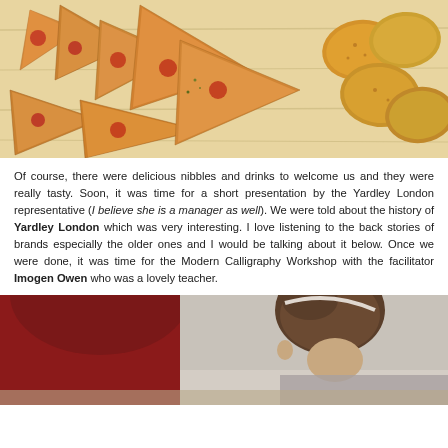[Figure (photo): Overhead view of pastry appetizers and crackers on a light wooden board]
Of course, there were delicious nibbles and drinks to welcome us and they were really tasty. Soon, it was time for a short presentation by the Yardley London representative (I believe she is a manager as well). We were told about the history of Yardley London which was very interesting. I love listening to the back stories of brands especially the older ones and I would be talking about it below. Once we were done, it was time for the Modern Calligraphy Workshop with the facilitator Imogen Owen who was a lovely teacher.
[Figure (photo): Two people at a calligraphy workshop, one wearing red top and one with hair up]